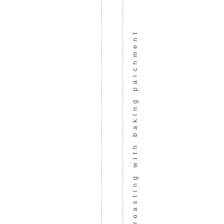roasting with baking parchment